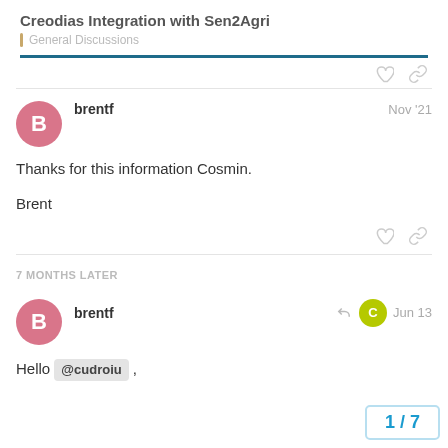Creodias Integration with Sen2Agri
General Discussions
brentf  Nov '21
Thanks for this information Cosmin.

Brent
7 MONTHS LATER
brentf  Jun 13
Hello @cudroiu ,